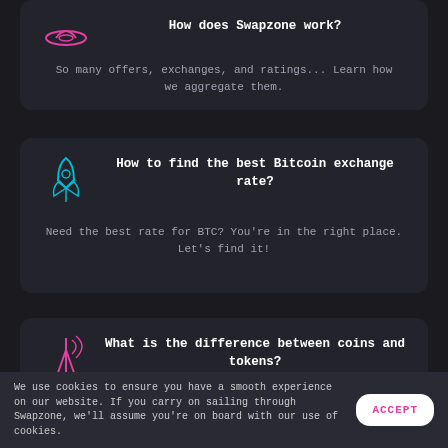[Figure (illustration): Pink/magenta neon hat/UFO icon for Swapzone]
How does Swapzone work?
So many offers, exchanges, and ratings... Learn how we aggregate them.
[Figure (illustration): Blue neon rocket icon]
How to find the best Bitcoin exchange rate?
Need the best rate for BTC? You're in the right place. Let's find it!
[Figure (illustration): Pink/magenta neon antenna/tower icon]
What is the difference between coins and tokens?
Take your time to once and for all delineate coins and tokens.
We use cookies to ensure you have a smooth experience on our website. If you carry on sailing through Swapzone, we'll assume you're on board with our use of cookies.